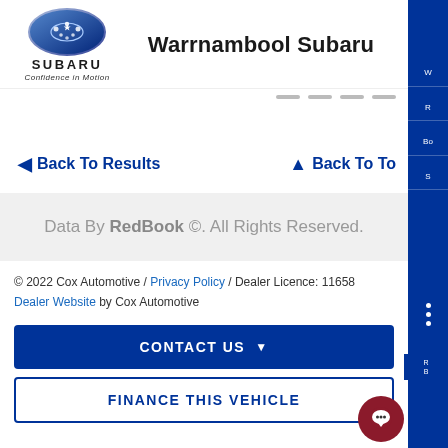[Figure (logo): Subaru logo with blue oval and stars, text SUBARU, tagline Confidence in Motion]
Warrnambool Subaru
Back To Results
Back To Top
Data By RedBook ©. All Rights Reserved.
© 2022 Cox Automotive / Privacy Policy / Dealer Licence: 11658
Dealer Website by Cox Automotive
CONTACT US
FINANCE THIS VEHICLE